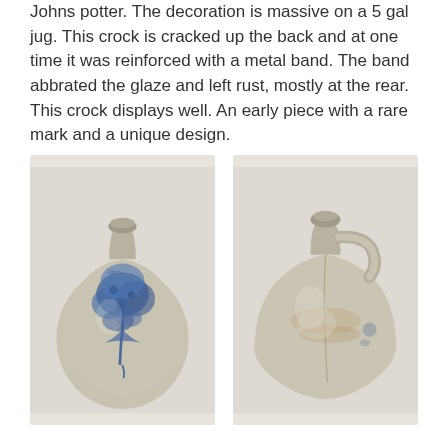Johns potter. The decoration is massive on a 5 gal jug. This crock is cracked up the back and at one time it was reinforced with a metal band. The band abbrated the glaze and left rust, mostly at the rear. This crock displays well. An early piece with a rare mark and a unique design.
[Figure (photo): Front view of a stoneware jug (crock) with blue cobalt floral/tree decoration painted on the front, light gray-beige glaze, narrow neck with small opening at top.]
[Figure (photo): Back/side view of the same stoneware jug showing the handle and the cracked, rust-stained rear surface with minimal blue decoration visible, lighter glaze.]